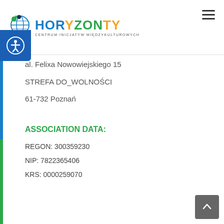[Figure (logo): Horyzonty Centrum Inicjatyw Międzykulturowych logo with globe icon and colorful text]
al. Felixa Nowowiejskiego 15
STREFA DO_WOLNOŚCI
61-732 Poznań
ASSOCIATION DATA:
REGON: 300359230
NIP: 7822365406
KRS: 0000259070